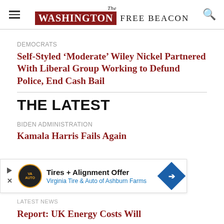The Washington Free Beacon
DEMOCRATS
Self-Styled ‘Moderate’ Wiley Nickel Partnered With Liberal Group Working to Defund Police, End Cash Bail
THE LATEST
BIDEN ADMINISTRATION
Kamala Harris Fails Again
[Figure (other): Advertisement banner: Tires + Alignment Offer, Virginia Tire & Auto of Ashburn Farms]
LATEST NEWS
Report: UK Energy Costs Will